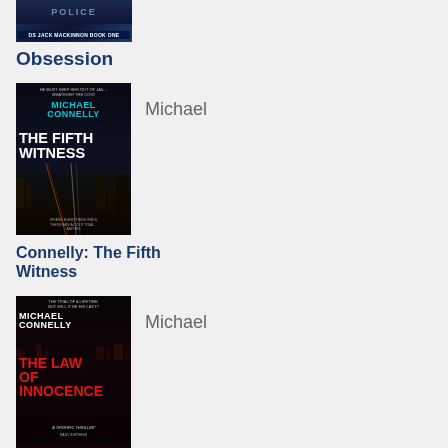[Figure (photo): Book cover for 'Obsession' - DS Jack Mackinnon Book One, partially visible at top of page, showing police lights]
Obsession
[Figure (photo): Book cover for 'The Fifth Witness' by Michael Connelly, showing nighttime highway with light trails and city skyline]
Michael
Connelly: The Fifth Witness
[Figure (photo): Book cover for 'The Law of Innocence' by Michael Connelly, showing red title text on dark background with city at night]
Michael